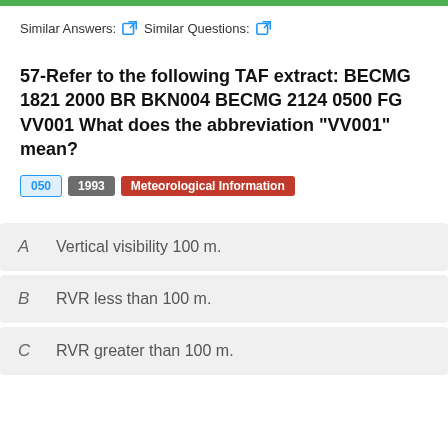Similar Answers: [icon] Similar Questions: [icon]
57-Refer to the following TAF extract: BECMG 1821 2000 BR BKN004 BECMG 2124 0500 FG VV001 What does the abbreviation "VV001" mean?
050  1993  Meteorological Information
A  Vertical visibility 100 m.
B  RVR less than 100 m.
C  RVR greater than 100 m.